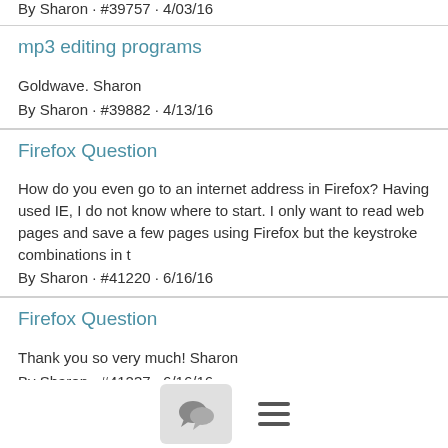By Sharon · #39757 · 4/03/16
mp3 editing programs
Goldwave. Sharon
By Sharon · #39882 · 4/13/16
Firefox Question
How do you even go to an internet address in Firefox? Having used IE, I do not know where to start. I only want to read web pages and save a few pages using Firefox but the keystroke combinations in t
By Sharon · #41220 · 6/16/16
Firefox Question
Thank you so very much! Sharon
By Sharon · #41237 · 6/16/16
Rearranging favorites
Go to your favorites in windows explorer. In the view menu, find sort by. Push enter on names. and this should put your favorites